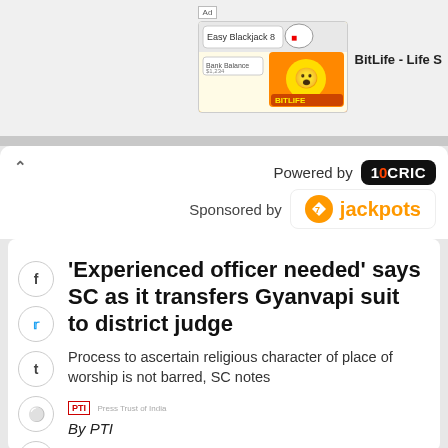[Figure (screenshot): Advertisement banner for BitLife - Life S game showing colorful game screenshot with Ad label]
[Figure (logo): 10CRIC logo - black circular logo with CRIC text, Powered by label]
[Figure (logo): 7 Jackpots orange logo badge, Sponsored by label]
'Experienced officer needed' says SC as it transfers Gyanvapi suit to district judge
Process to ascertain religious character of place of worship is not barred, SC notes
[Figure (logo): PTI news agency logo]
By PTI